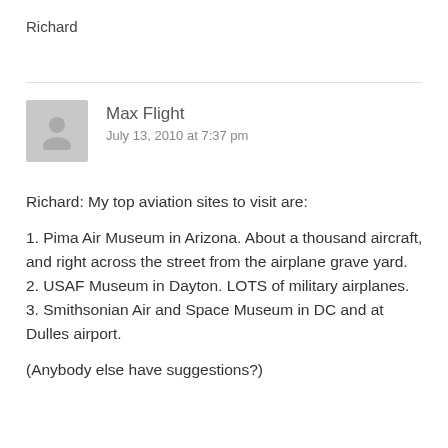Richard
Max Flight
July 13, 2010 at 7:37 pm
Richard: My top aviation sites to visit are:
1. Pima Air Museum in Arizona. About a thousand aircraft, and right across the street from the airplane grave yard.
2. USAF Museum in Dayton. LOTS of military airplanes.
3. Smithsonian Air and Space Museum in DC and at Dulles airport.
(Anybody else have suggestions?)